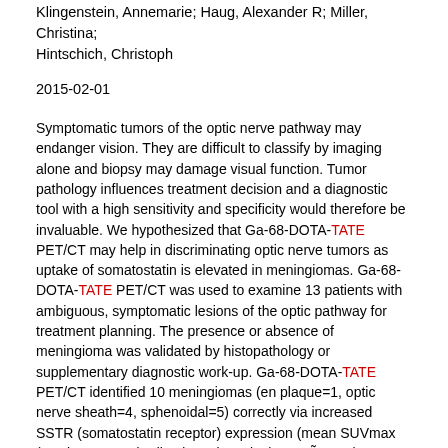Klingenstein, Annemarie; Haug, Alexander R; Miller, Christina; Hintschich, Christoph
2015-02-01
Symptomatic tumors of the optic nerve pathway may endanger vision. They are difficult to classify by imaging alone and biopsy may damage visual function. Tumor pathology influences treatment decision and a diagnostic tool with a high sensitivity and specificity would therefore be invaluable. We hypothesized that Ga-68-DOTA-TATE PET/CT may help in discriminating optic nerve tumors as uptake of somatostatin is elevated in meningiomas. Ga-68-DOTA-TATE PET/CT was used to examine 13 patients with ambiguous, symptomatic lesions of the optic pathway for treatment planning. The presence or absence of meningioma was validated by histopathology or supplementary diagnostic work-up. Ga-68-DOTA-TATE PET/CT identified 10 meningiomas (en plaqueâ=â1, optic nerve sheathâ=â4, sphenoidalâ=â5) correctly via increased SSTR (somatostatin receptor) expression (mean SUVmax (maximum standardized uptake value)â=â14.3âÂ±â15.4). 3 tumors did not show elevated Ga-68-DOTA-TATE uptake (SUVmaxâ=â2.1âÂ±â1.0). Subsumizing all clinical-radiological follow-up tools available